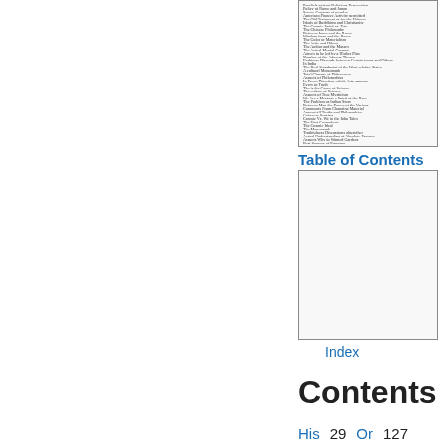[Figure (screenshot): Thumbnail image of a Table of Contents page with small dense text listing chapter titles and page numbers]
Table of Contents
[Figure (screenshot): Thumbnail image of an Index page, mostly blank/white]
Index
Contents
His  29  Or  127